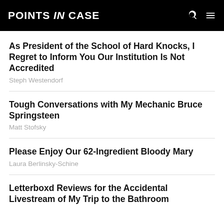POINTS IN CASE
As President of the School of Hard Knocks, I Regret to Inform You Our Institution Is Not Accredited
Steph Westendorf
Tough Conversations with My Mechanic Bruce Springsteen
Matt Stofsky
Please Enjoy Our 62-Ingredient Bloody Mary
Laura Berlinsky-Schine
Letterboxd Reviews for the Accidental Livestream of My Trip to the Bathroom